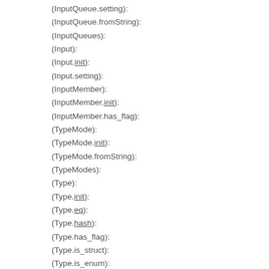(InputQueue.setting):
(InputQueue.fromString):
(InputQueues):
(Input):
(Input.init):
(Input.setting):
(InputMember):
(InputMember.init):
(InputMember.has_flag):
(TypeMode):
(TypeMode.init):
(TypeMode.fromString):
(TypeModes):
(Type):
(Type.init):
(Type.eq):
(Type.hash):
(Type.has_flag):
(Type.is_struct):
(Type.is_enum):
(Type.is_enum_class):
(Type.declaration_kind):
(Type.qualified_prefix):
(Type.qualified_prefix.is):
(Type.type_name):
(Type.storage_type):
(Type.borrow_type):